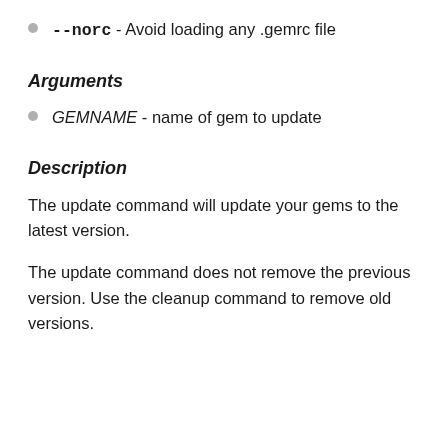--norc - Avoid loading any .gemrc file
Arguments
GEMNAME - name of gem to update
Description
The update command will update your gems to the latest version.
The update command does not remove the previous version. Use the cleanup command to remove old versions.